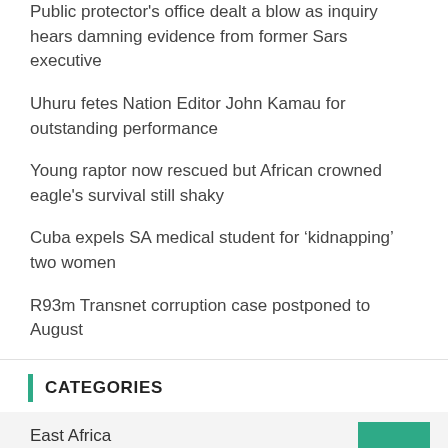Public protector's office dealt a blow as inquiry hears damning evidence from former Sars executive
Uhuru fetes Nation Editor John Kamau for outstanding performance
Young raptor now rescued but African crowned eagle's survival still shaky
Cuba expels SA medical student for ‘kidnapping’ two women
R93m Transnet corruption case postponed to August
CATEGORIES
East Africa
Ethiopia
Kenya